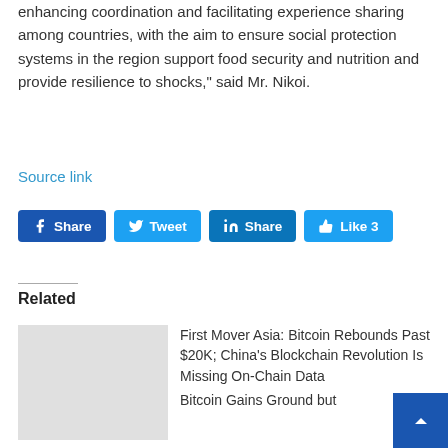enhancing coordination and facilitating experience sharing among countries, with the aim to ensure social protection systems in the region support food security and nutrition and provide resilience to shocks," said Mr. Nikoi.
Source link
[Figure (infographic): Social media sharing buttons: Facebook Share, Twitter Tweet, LinkedIn Share, Like 3]
Related
First Mover Asia: Bitcoin Rebounds Past $20K; China's Blockchain Revolution Is Missing On-Chain Data
Bitcoin Gains Ground but